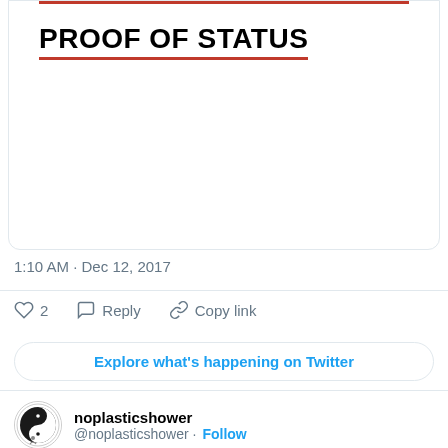PROOF OF STATUS
1:10 AM · Dec 12, 2017
2  Reply  Copy link
Explore what's happening on Twitter
noplasticshower @noplasticshower · Follow
And accidentally making platinum on @united.